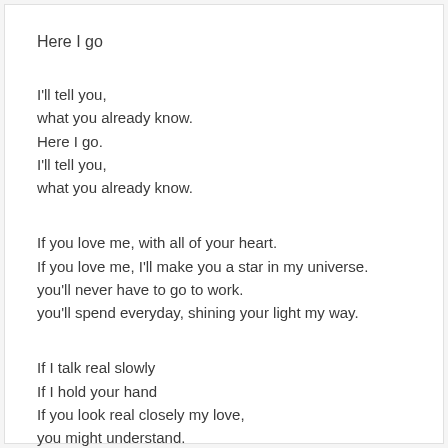Here I go
I'll tell you,
what you already know.
Here I go.
I'll tell you,
what you already know.
If you love me, with all of your heart.
If you love me, I'll make you a star in my universe.
you'll never have to go to work.
you'll spend everyday, shining your light my way.
If I talk real slowly
If I hold your hand
If you look real closely my love,
you might understand.
Here I go